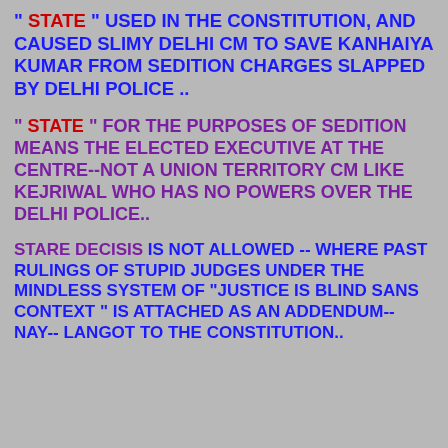" STATE " USED IN THE CONSTITUTION, AND CAUSED SLIMY DELHI CM TO SAVE KANHAIYA KUMAR FROM SEDITION CHARGES SLAPPED BY DELHI POLICE ..
" STATE " FOR THE PURPOSES OF SEDITION MEANS THE ELECTED EXECUTIVE AT THE CENTRE--NOT A UNION TERRITORY CM LIKE KEJRIWAL WHO HAS NO POWERS OVER THE DELHI POLICE..
STARE DECISIS IS NOT ALLOWED -- WHERE PAST RULINGS OF STUPID JUDGES UNDER THE MINDLESS SYSTEM OF "JUSTICE IS BLIND SANS CONTEXT " IS ATTACHED AS AN ADDENDUM-- NAY-- LANGOT TO THE CONSTITUTION..